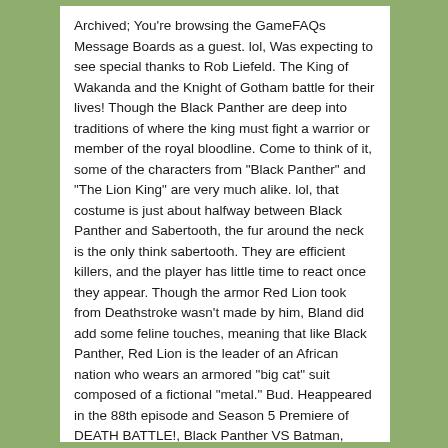Archived; You're browsing the GameFAQs Message Boards as a guest. lol, Was expecting to see special thanks to Rob Liefeld. The King of Wakanda and the Knight of Gotham battle for their lives! Though the Black Panther are deep into traditions of where the king must fight a warrior or member of the royal bloodline. Come to think of it, some of the characters from "Black Panther" and "The Lion King" are very much alike. lol, that costume is just about halfway between Black Panther and Sabertooth, the fur around the neck is the only think sabertooth. They are efficient killers, and the player has little time to react once they appear. Though the armor Red Lion took from Deathstroke wasn't made by him, Bland did add some feline touches, meaning that like Black Panther, Red Lion is the leader of an African nation who wears an armored "big cat" suit composed of a fictional "metal." Bud. Heappeared in the 88th episode and Season 5 Premiere of DEATH BATTLE!, Black Panther VS Batman, where he fought against Batman from DC Comics. T'Challa's black, this guy is red. DC's Black Panther Red Lion Attacks and What's The Deal